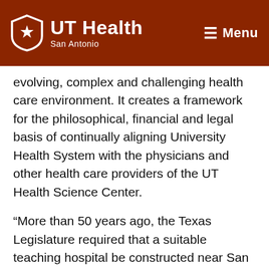[Figure (logo): UT Health San Antonio logo with white shield containing a star, white text 'UT Health' large and 'San Antonio' smaller beneath, on dark burnt-orange background. Right side shows hamburger menu icon and 'Menu' text in white.]
evolving, complex and challenging health care environment. It creates a framework for the philosophical, financial and legal basis of continually aligning University Health System with the physicians and other health care providers of the UT Health Science Center.
“More than 50 years ago, the Texas Legislature required that a suitable teaching hospital be constructed near San Antonio’s medical school,” said William L. Henrich, M.D., MACP, president of the Health Science Center. “With this new affiliation agreement, we renew our longstanding partnership with that teaching hospital bringing it